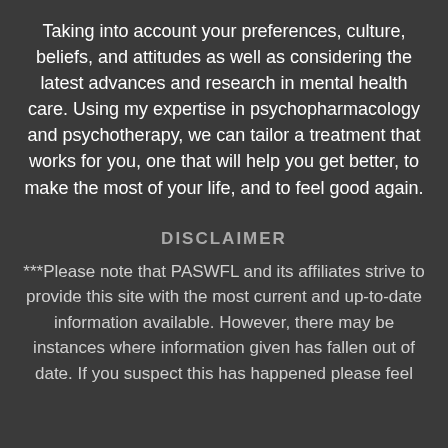Taking into account your preferences, culture, beliefs, and attitudes as well as considering the latest advances and research in mental health care. Using my expertise in psychopharmacology and psychotherapy, we can tailor a treatment that works for you, one that will help you get better, to make the most of your life, and to feel good again.
DISCLAIMER
***Please note that PASWFL and its affiliates strive to provide this site with the most current and up-to-date information available. However, there may be instances where information given has fallen out of date. If you suspect this has happened please feel